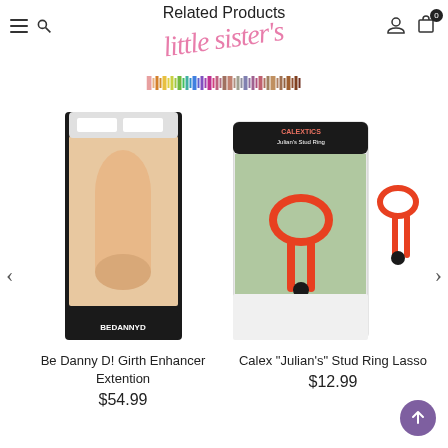Related Products
[Figure (logo): Little Sister's store logo in pink cursive script with rainbow barcode-style decoration below]
[Figure (photo): Product image: Be Danny D! Girth Enhancer Extension - packaged adult novelty product in retail blister card]
Be Danny D! Girth Enhancer Extention
$54.99
[Figure (photo): Product image: Calex Julian's Stud Ring Lasso - red lasso-style cock ring in retail blister card, with separate product image showing the red ring]
Calex "Julian's" Stud Ring Lasso
$12.99